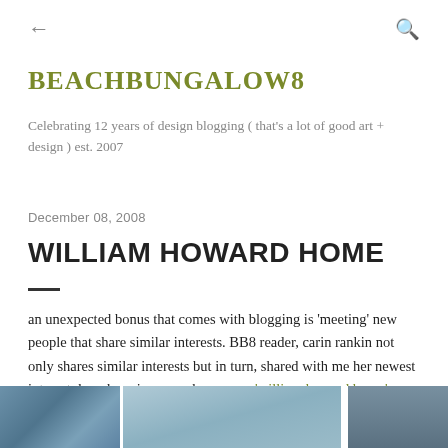← (back) Q (search)
BEACHBUNGALOW8
Celebrating 12 years of design blogging ( that's a lot of good art + design ) est. 2007
December 08, 2008
WILLIAM HOWARD HOME
an unexpected bonus that comes with blogging is 'meeting' new people that share similar interests. BB8 reader, carin rankin not only shares similar interests but in turn, shared with me her newest interest; her charming new showroom, 'william howard home'.
[Figure (photo): Partial photo strip at the bottom showing the exterior of a building, appearing to be the William Howard Home showroom.]